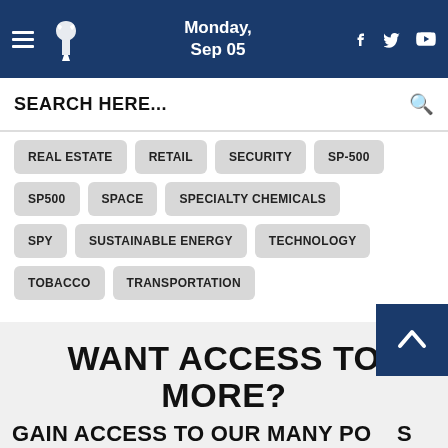Monday, Sep 05
SEARCH HERE...
REAL ESTATE
RETAIL
SECURITY
SP-500
SP500
SPACE
SPECIALTY CHEMICALS
SPY
SUSTAINABLE ENERGY
TECHNOLOGY
TOBACCO
TRANSPORTATION
WANT ACCESS TO MORE?
GAIN ACCESS TO OUR MANY PO...S
Browse our site without restriction, and gain insights to some of the top company stocks